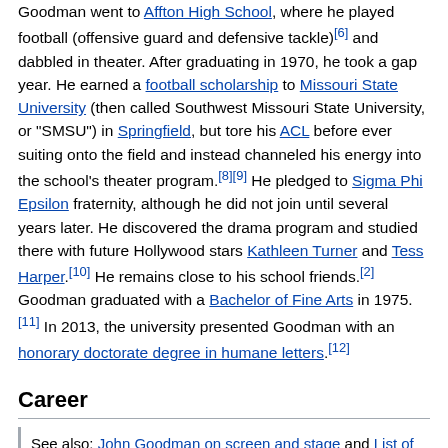Goodman went to Affton High School, where he played football (offensive guard and defensive tackle)[6] and dabbled in theater. After graduating in 1970, he took a gap year. He earned a football scholarship to Missouri State University (then called Southwest Missouri State University, or "SMSU") in Springfield, but tore his ACL before ever suiting onto the field and instead channeled his energy into the school's theater program.[8][9] He pledged to Sigma Phi Epsilon fraternity, although he did not join until several years later. He discovered the drama program and studied there with future Hollywood stars Kathleen Turner and Tess Harper.[10] He remains close to his school friends.[2] Goodman graduated with a Bachelor of Fine Arts in 1975.[11] In 2013, the university presented Goodman with an honorary doctorate degree in humane letters.[12]
Career
See also: John Goodman on screen and stage and List of awards and nominations received by John Goodman
1980s
[Figure (photo): Outdoor scene with a figure, 1980s era photo of John Goodman]